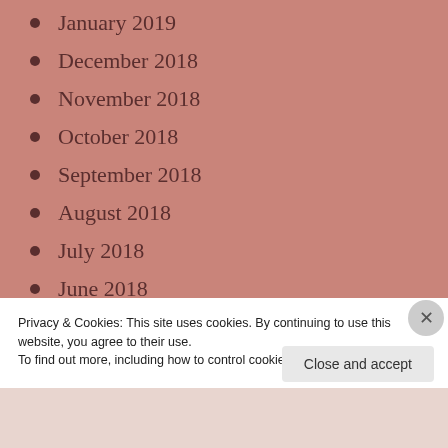January 2019
December 2018
November 2018
October 2018
September 2018
August 2018
July 2018
June 2018
May 2018
April 2018
March 2018
Privacy & Cookies: This site uses cookies. By continuing to use this website, you agree to their use. To find out more, including how to control cookies, see here: Cookie Policy